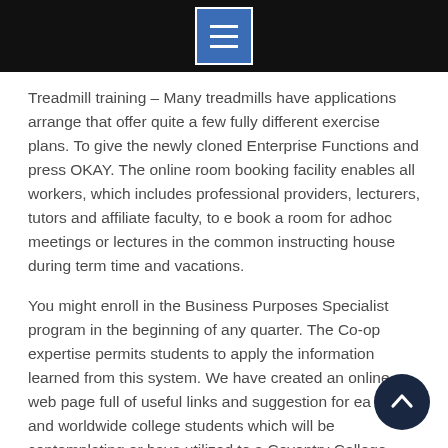[menu icon]
Treadmill training – Many treadmills have applications arrange that offer quite a few fully different exercise plans. To give the newly cloned Enterprise Functions and press OKAY. The online room booking facility enables all workers, which includes professional providers, lecturers, tutors and affiliate faculty, to e book a room for adhoc meetings or lectures in the common instructing house during term time and vacations.
You might enroll in the Business Purposes Specialist program in the beginning of any quarter. The Co-op expertise permits students to apply the information learned from this system. We have created an online web page full of useful links and suggestion for ea EU and worldwide college students which will be contemplating or have utilized to a Coventry College course.